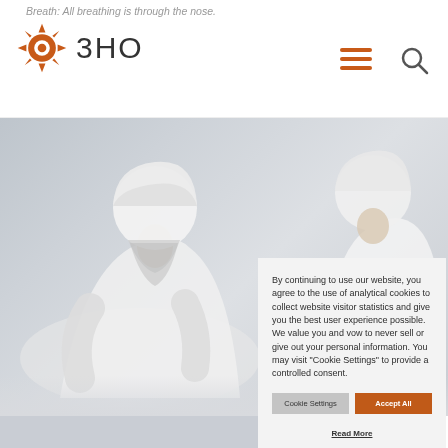Breath: All breathing is through the nose.
[Figure (logo): 3HO organization logo with orange sun/star icon and text '3HO']
[Figure (photo): Two people wearing white clothing and white turbans, seated in meditation pose against light grey background]
By continuing to use our website, you agree to the use of analytical cookies to collect website visitor statistics and give you the best user experience possible. We value you and vow to never sell or give out your personal information. You may visit "Cookie Settings" to provide a controlled consent.
Cookie Settings
Accept All
Read More